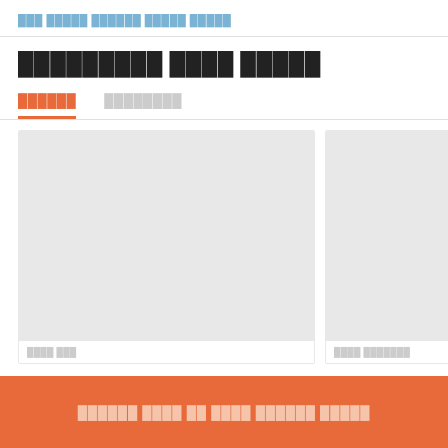███ █████ ██████ █████ █████
█████████ ████ █████
██████   ████████
[Figure (photo): Large placeholder image card]
[Figure (photo): Smaller placeholder image card]
████ ████ ██ ████ ██████ █████